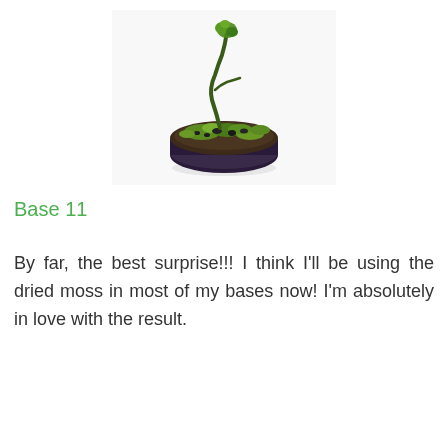[Figure (photo): A miniature tabletop gaming base — a small dark round disc topped with dried green moss, dark rocks/pebbles, and a small twisted green branch or plant emerging from the top. Photographed on a white background.]
Base 11
By far, the best surprise!!! I think I'll be using the dried moss in most of my bases now! I'm absolutely in love with the result.